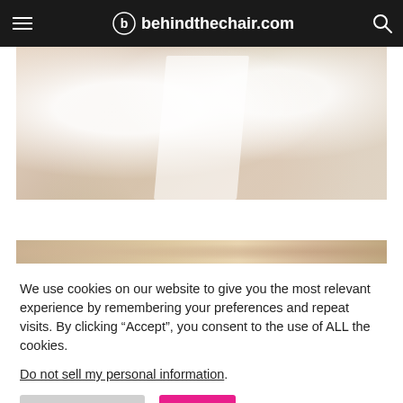behindthechair.com
[Figure (photo): Close-up photo of a light-colored fabric garment, white/cream colored clothing with criss-cross straps]
[Figure (photo): Partially visible photo below, warm beige/gold tones]
We use cookies on our website to give you the most relevant experience by remembering your preferences and repeat visits. By clicking “Accept”, you consent to the use of ALL the cookies.
Do not sell my personal information.